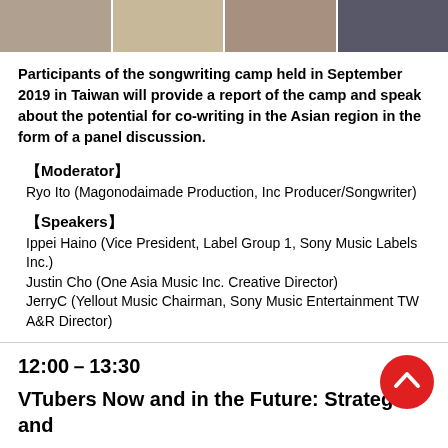[Figure (photo): Photo strip showing four participant photos from the songwriting camp]
Participants of the songwriting camp held in September 2019 in Taiwan will provide a report of the camp and speak about the potential for co-writing in the Asian region in the form of a panel discussion.
【Moderator】
Ryo Ito (Magonodaimade Production, Inc Producer/Songwriter)
【Speakers】
Ippei Haino (Vice President, Label Group 1, Sony Music Labels Inc.)
Justin Cho (One Asia Music Inc. Creative Director)
JerryC (Yellout Music Chairman, Sony Music Entertainment TW A&R Director)
12:00－13:30
VTubers Now and in the Future: Strategies and